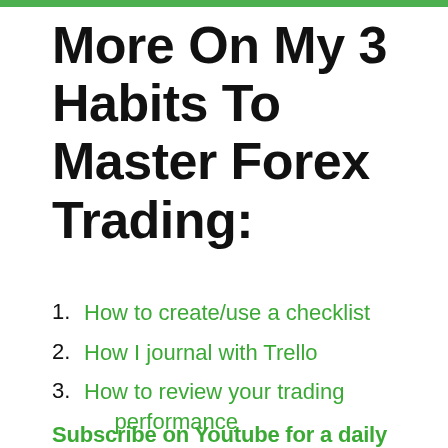More On My 3 Habits To Master Forex Trading:
How to create/use a checklist
How I journal with Trello
How to review your trading performance
Subscribe on Youtube for a daily